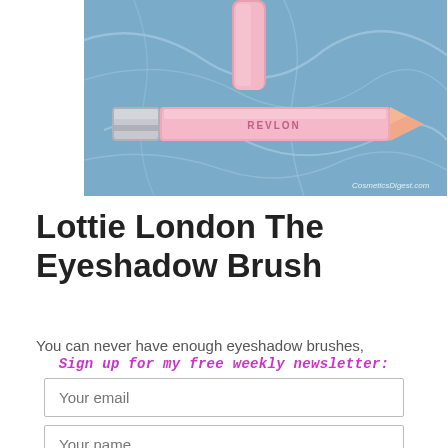[Figure (photo): A Revlon pink lip crayon/pencil product lying horizontally on a blue marble surface, with a pink tube cap standing upright behind it. The pencil has a silver ferrule on the left and a pink pointed tip on the right. Watermark reads CosmeticsDigest.com.]
Lottie London The Eyeshadow Brush
You can never have enough eyeshadow brushes, especially
Sign up for my free weekly newsletter:
Your email
Your name
Subscribe!